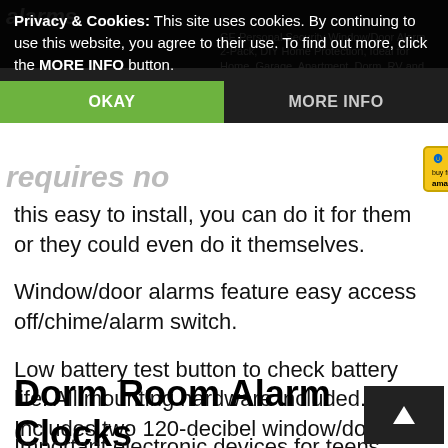alarms.
Privacy & Cookies: This site uses cookies. By continuing to use this website, you agree to their use. To find out more, click the MORE INFO button.
OKAY
MORE INFO
GE Personal Security Window/Door Alarm, 2-Pack, DIY Home Protection, Ideal for Home, Garage, Apartment, Dorm, RV and Office
requires no
[Figure (other): Buy from amazon.com button in yellow/gold border]
this easy to install, you can do it for them or they could even do it themselves.
Window/door alarms feature easy access off/chime/alarm switch.
Low battery test button to check battery life. All mounting hardware included. Includes two 120-decibel window/door alarms for peace of mind.
Dorm Room Alarm Clocks
Important electronic devices for teens include alarm